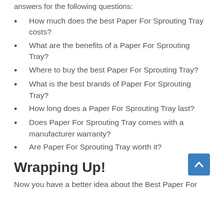answers for the following questions:
How much does the best Paper For Sprouting Tray costs?
What are the benefits of a Paper For Sprouting Tray?
Where to buy the best Paper For Sprouting Tray?
What is the best brands of Paper For Sprouting Tray?
How long does a Paper For Sprouting Tray last?
Does Paper For Sprouting Tray comes with a manufacturer warranty?
Are Paper For Sprouting Tray worth it?
Wrapping Up!
Now you have a better idea about the Best Paper For